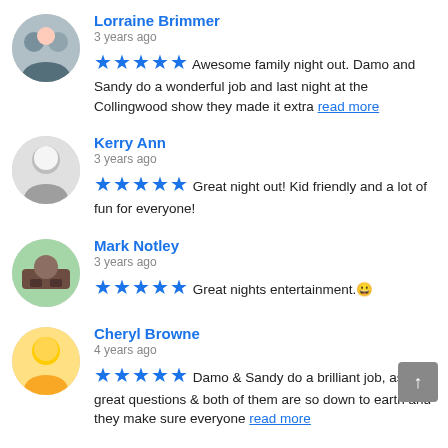Lorraine Brimmer
3 years ago
★★★★★ Awesome family night out. Damo and Sandy do a wonderful job and last night at the Collingwood show they made it extra read more
Kerry Ann
3 years ago
★★★★★ Great night out! Kid friendly and a lot of fun for everyone!
Mark Notley
3 years ago
★★★★★ Great nights entertainment.😀
Cheryl Browne
4 years ago
★★★★★ Damo & Sandy do a brilliant job, asking great questions & both of them are so down to earth and they make sure everyone read more
Kaz Saddington
4 years ago